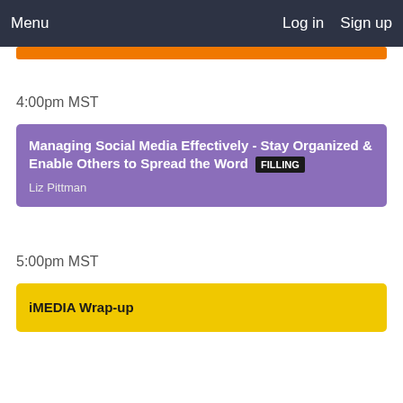Menu  Log in  Sign up
4:00pm MST
Managing Social Media Effectively - Stay Organized & Enable Others to Spread the Word  FILLING
Liz Pittman
5:00pm MST
iMEDIA Wrap-up